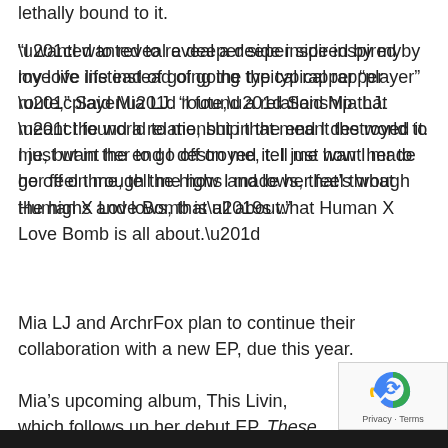lethally bound to it.
“I wanted to reveal a deeper side inspired by my love life instead of going the typical rapper “player” route,” Said Mia LJ. “I found a relationship that meant the world to me, but in the end I destroyed it. I just want her to go off on me, tell me how I made her feel through the highs and lows, that’s what Human X Love Bomb is all about.”
Mia LJ and ArchrFox plan to continue their collaboration with a new EP, due this year.
Mia’s upcoming album, This Livin, which follows up her debut EP, These Are The Years, is due out this sum